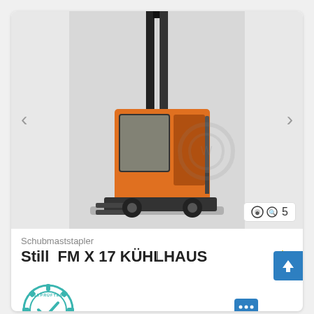[Figure (photo): Orange Still FM X 17 reach truck / Schubmaststapler forklift photographed against a light grey background, showing the full vehicle from the side with mast extended upward. Watermark of a machinery marketplace visible on the right side of the image.]
Schubmaststapler
Still  FM X 17 KÜHLHAUS
[Figure (logo): Geprüfter Händler (Verified Dealer) badge — circular teal/cyan gear-shaped badge with checkmark and text 'GEPRÜFTER HÄNDLER']
LOB & KRITIK